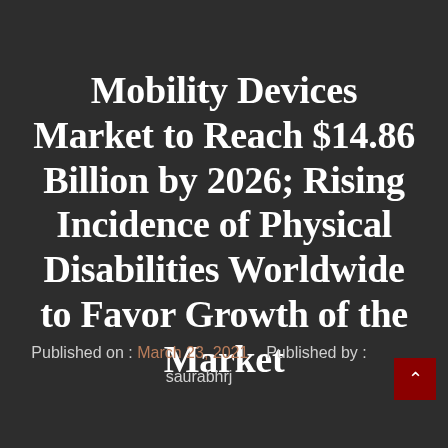Mobility Devices Market to Reach $14.86 Billion by 2026; Rising Incidence of Physical Disabilities Worldwide to Favor Growth of the Market
Published on : March 23, 2021   Published by : saurabhrj